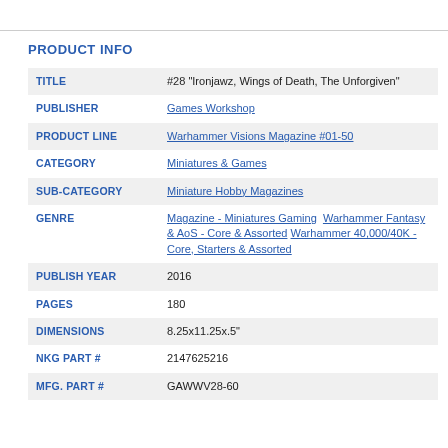PRODUCT INFO
| Field | Value |
| --- | --- |
| TITLE | #28 "Ironjawz, Wings of Death, The Unforgiven" |
| PUBLISHER | Games Workshop |
| PRODUCT LINE | Warhammer Visions Magazine #01-50 |
| CATEGORY | Miniatures & Games |
| SUB-CATEGORY | Miniature Hobby Magazines |
| GENRE | Magazine - Miniatures Gaming  Warhammer Fantasy & AoS - Core & Assorted  Warhammer 40,000/40K - Core, Starters & Assorted |
| PUBLISH YEAR | 2016 |
| PAGES | 180 |
| DIMENSIONS | 8.25x11.25x.5" |
| NKG PART # | 2147625216 |
| MFG. PART # | GAWWV28-60 |